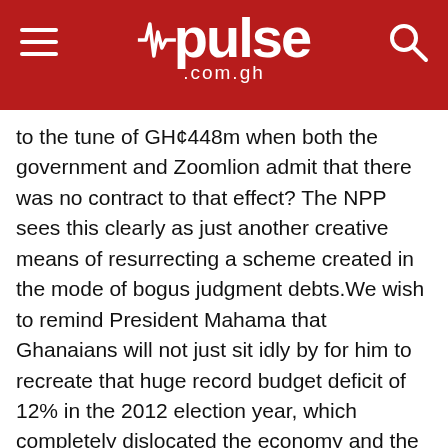pulse .com.gh
to the tune of GH¢448m when both the government and Zoomlion admit that there was no contract to that effect? The NPP sees this clearly as just another creative means of resurrecting a scheme created in the mode of bogus judgment debts.We wish to remind President Mahama that Ghanaians will not just sit idly by for him to recreate that huge record budget deficit of 12% in the 2012 election year, which completely dislocated the economy and the country is yet to recover from after a whole four years.Elections, Mr President, is not a do or die affair for you to bankrupt the country in a desperate pursuit to buy votes and to create, loot and share. We have seen how in the last few weeks alone, in the dying moments of your party's eight year rule, how you have embarked on another mad rush to saddle the nation with loans.For example:Oct 2016 – a $24 million Kuwaiti loan facility to refurbish 26